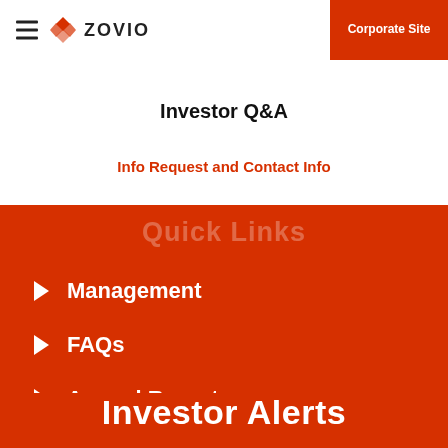ZOVIO | Corporate Site
Investor Q&A
Info Request and Contact Info
Quick Links
Management
FAQs
Annual Reports
Investor Alerts